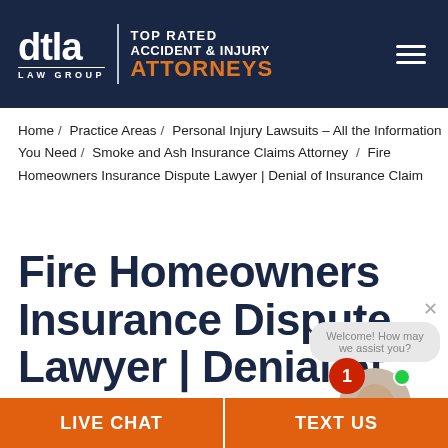[Figure (logo): DTLA Law Group logo with 'TOP RATED ACCIDENT & INJURY ATTORNEYS' text on dark navy background header]
Home / Practice Areas / Personal Injury Lawsuits – All the Information You Need / Smoke and Ash Insurance Claims Attorney / Fire Homeowners Insurance Dispute Lawyer | Denial of Insurance Claim
Fire Homeowners Insurance Dispute Lawyer | Denial of Insurance Claim